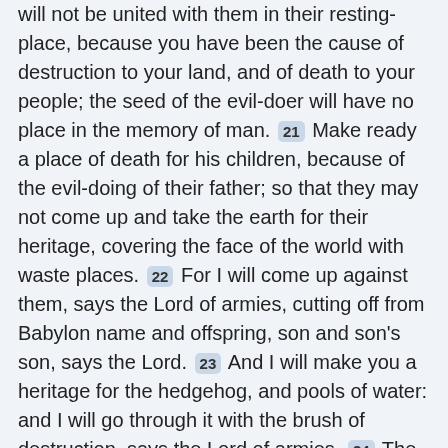will not be united with them in their resting-place, because you have been the cause of destruction to your land, and of death to your people; the seed of the evil-doer will have no place in the memory of man. [21] Make ready a place of death for his children, because of the evil-doing of their father; so that they may not come up and take the earth for their heritage, covering the face of the world with waste places. [22] For I will come up against them, says the Lord of armies, cutting off from Babylon name and offspring, son and son's son, says the Lord. [23] And I will make you a heritage for the hedgehog, and pools of water: and I will go through it with the brush of destruction, says the Lord of armies. [24] The Lord has taken an oath, saying, My design will certainly come about, and my purpose will be effected: [25] To let the Assyrian be broken in my land, and crushed under foot on my mountains: there will his yoke be taken away from them, and his rule over them come to an end. [26] This is the purpose for all the earth: and this is the hand stretched out over all nations. [27] For it is the purpose of the Lord of armies, and who will make it